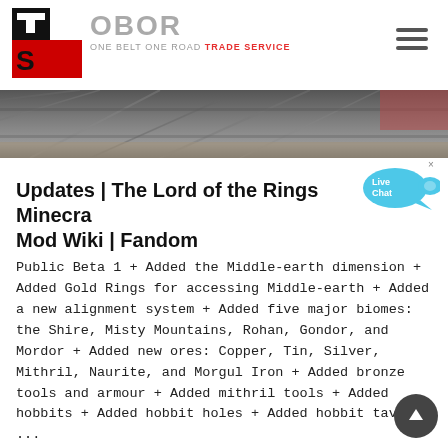OBOR - ONE BELT ONE ROAD TRADE SERVICE
[Figure (photo): Construction site banner image showing scaffolding and building materials]
Updates | The Lord of the Rings Minecraft Mod Wiki | Fandom
Public Beta 1 + Added the Middle-earth dimension + Added Gold Rings for accessing Middle-earth + Added a new alignment system + Added five major biomes: the Shire, Misty Mountains, Rohan, Gondor, and Mordor + Added new ores: Copper, Tin, Silver, Mithril, Naurite, and Morgul Iron + Added bronze tools and armour + Added mithril tools + Added hobbits + Added hobbit holes + Added hobbit taverns ...